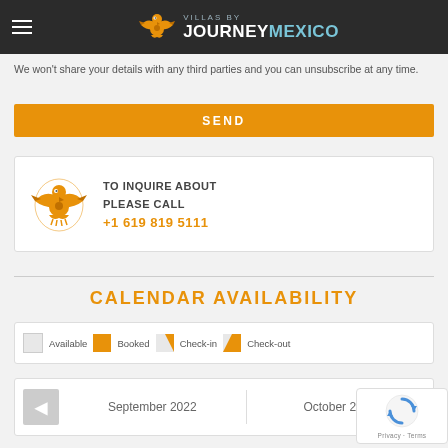Villas by Journey Mexico
We won't share your details with any third parties and you can unsubscribe at any time.
SEND
TO INQUIRE ABOUT PLEASE CALL +1 619 819 5111
CALENDAR AVAILABILITY
Available  Booked  Check-in  Check-out
September 2022  October 2022